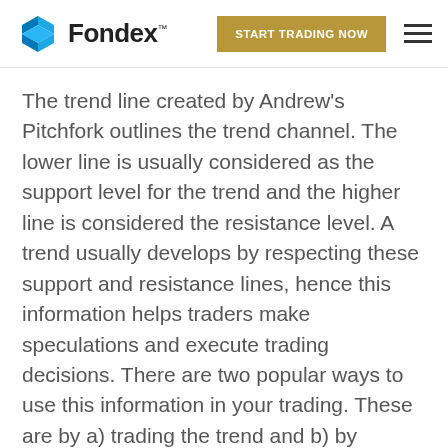Fondex | START TRADING NOW
The trend line created by Andrew's Pitchfork outlines the trend channel. The lower line is usually considered as the support level for the trend and the higher line is considered the resistance level. A trend usually develops by respecting these support and resistance lines, hence this information helps traders make speculations and execute trading decisions. There are two popular ways to use this information in your trading. These are by a) trading the trend and b) by trading the break outs. We will describe in detail these two popular trading strategies below.